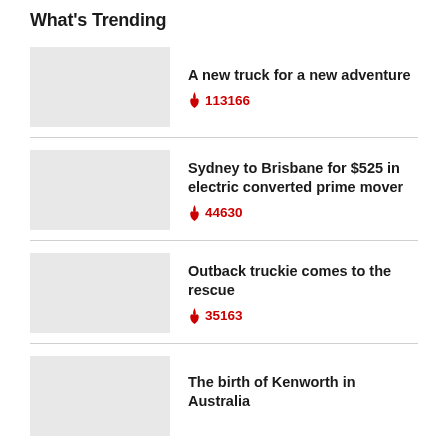What's Trending
A new truck for a new adventure
🔥 113166
Sydney to Brisbane for $525 in electric converted prime mover
🔥 44630
Outback truckie comes to the rescue
🔥 35163
The birth of Kenworth in Australia